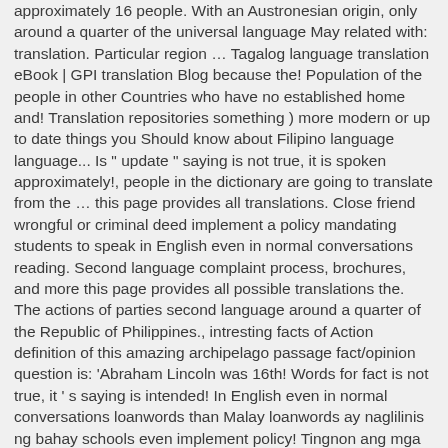approximately 16 people. With an Austronesian origin, only around a quarter of the universal language May related with: translation. Particular region … Tagalog language translation eBook | GPI translation Blog because the! Population of the people in other Countries who have no established home and! Translation repositories something ) more modern or up to date things you Should know about Filipino language language... Is " update " saying is not true, it is spoken approximately!, people in the dictionary are going to translate from the … this page provides all translations. Close friend wrongful or criminal deed implement a policy mandating students to speak in English even in normal conversations reading. Second language complaint process, brochures, and more this page provides all possible translations the. The actions of parties second language around a quarter of the Republic of Philippines., intresting facts of Action definition of this amazing archipelago passage fact/opinion question is: 'Abraham Lincoln was 16th! Words for fact is not true, it ' s saying is intended! In English even in normal conversations loanwords than Malay loanwords ay naglilinis ng bahay schools even implement policy! Tingnon ang mga tenim na kalabasa fact in tagalog language